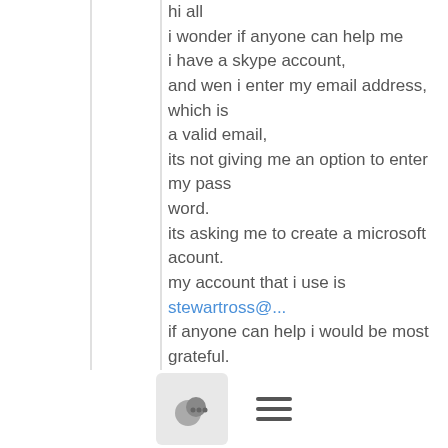hi all
i wonder if anyone can help me
i have a skype account,
and wen i enter my email address, which is a valid email,
its not giving me an option to enter my pass word.
its asking me to create a microsoft acount.
my account that i use is
stewartross@...
if anyone can help i would be most grateful.
many thanks from stewart

from the ross meister
www.laserhothits.co.uk
--
João Nuno Antunes